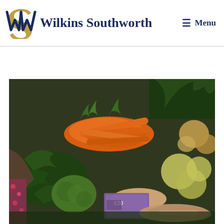[Figure (logo): Wilkins Southworth logo: interlocking W and S letters in navy and gold]
Wilkins Southworth
≡ Menu
[Figure (photo): Person handing a £20 banknote at a vegetable market stall with carrots, kale, and other produce visible]